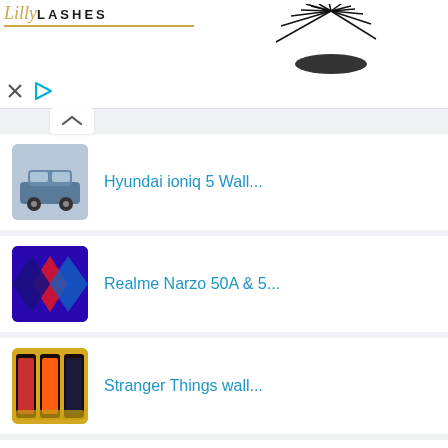[Figure (photo): Lilly Lashes advertisement banner with logo on left and false eyelashes product image on right]
Hyundai ioniq 5 Wall...
Realme Narzo 50A & 5...
Stranger Things wall...
Beautiful Wallpapers...
Bluey Wallpaper HD